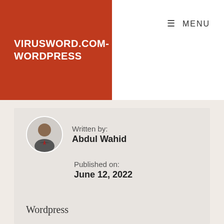VIRUSWORD.COM-WORDPRESS
≡ MENU
Written by:
Abdul Wahid
Published on:
June 12, 2022
Categories: Latest News
Wordpress